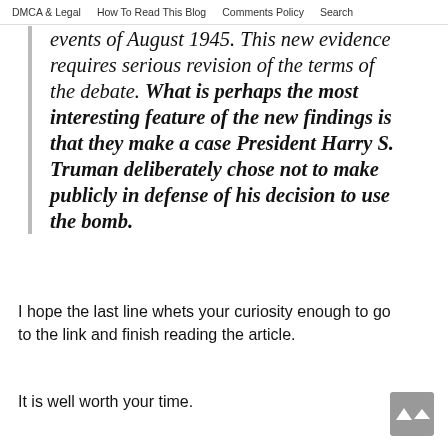DMCA & Legal   How To Read This Blog   Comments Policy   Search
events of August 1945. This new evidence requires serious revision of the terms of the debate. What is perhaps the most interesting feature of the new findings is that they make a case President Harry S. Truman deliberately chose not to make publicly in defense of his decision to use the bomb.
I hope the last line whets your curiosity enough to go to the link and finish reading the article.
It is well worth your time.